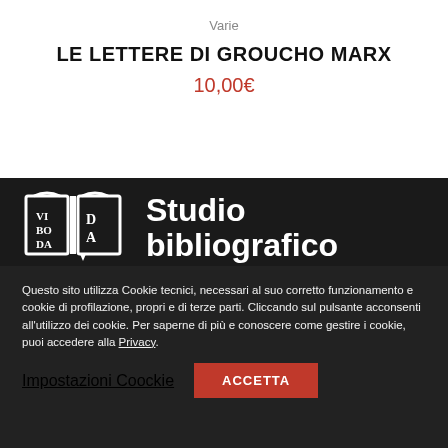Varie
LE LETTERE DI GROUCHO MARX
10,00€
[Figure (logo): Studio bibliografico logo with open book icon showing 'VI BO DA' text and 'Studio bibliografico' text in white on dark background]
Questo sito utilizza Cookie tecnici, necessari al suo corretto funzionamento e cookie di profilazione, propri e di terze parti. Cliccando sul pulsante acconsenti all'utilizzo dei cookie. Per saperne di più e conoscere come gestire i cookie, puoi accedere alla Privacy.
Impostazioni Coockie
ACCETTA